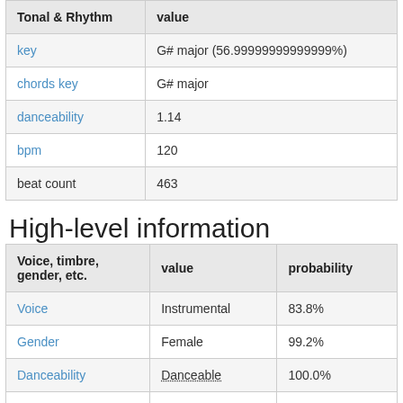| Tonal & Rhythm | value |
| --- | --- |
| key | G# major (56.99999999999999%) |
| chords key | G# major |
| danceability | 1.14 |
| bpm | 120 |
| beat count | 463 |
High-level information
| Voice, timbre, gender, etc. | value | probability |
| --- | --- | --- |
| Voice | Instrumental | 83.8% |
| Gender | Female | 99.2% |
| Danceability | Danceable | 100.0% |